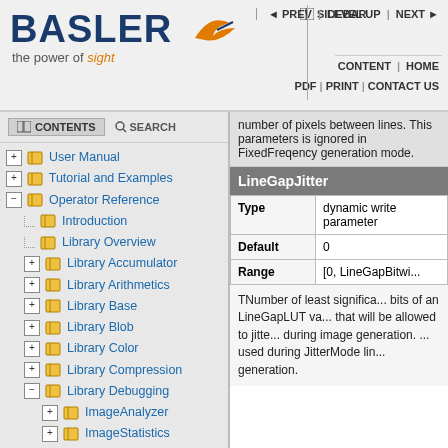BASLER the power of sight | SIDEBAR | PREV | LEVEL UP | NEXT | CONTENT | HOME | PDF | PRINT | CONTACT US
CONTENTS   SEARCH
User Manual
Tutorial and Examples
Operator Reference
Introduction
Library Overview
Library Accumulator
Library Arithmetics
Library Base
Library Blob
Library Color
Library Compression
Library Debugging
ImageAnalyzer
ImageStatistics
number of pixels between lines. This parameters is ignored in FixedFreqency generation mode.
LineGapJitter
|  |  |
| --- | --- |
| Type | dynamic write parameter |
| Default | 0 |
| Range | [0, LineGapBitwi... |
TNumber of least significant bits of an LineGapLUT value that will be allowed to jitter during image generation. Only used during JitterMode line generation.